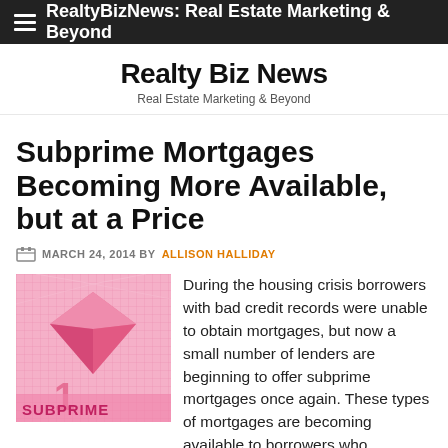RealtyBizNews: Real Estate Marketing & Beyond
Realty Biz News
Real Estate Marketing & Beyond
Subprime Mortgages Becoming More Available, but at a Price
MARCH 24, 2014 BY ALLISON HALLIDAY
[Figure (photo): Pink graphic with diamond shapes and grid pattern, labeled SUBPRIME]
During the housing crisis borrowers with bad credit records were unable to obtain mortgages, but now a small number of lenders are beginning to offer subprime mortgages once again. These types of mortgages are becoming available to borrowers who